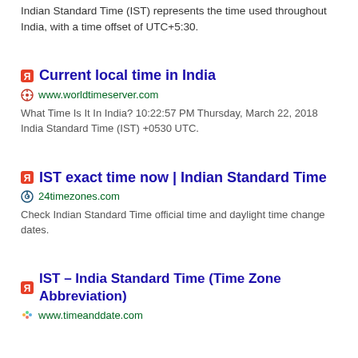Indian Standard Time (IST) represents the time used throughout India, with a time offset of UTC+5:30.
Current local time in India
www.worldtimeserver.com
What Time Is It In India? 10:22:57 PM Thursday, March 22, 2018 India Standard Time (IST) +0530 UTC.
IST exact time now | Indian Standard Time
24timezones.com
Check Indian Standard Time official time and daylight time change dates.
IST – India Standard Time (Time Zone Abbreviation)
www.timeanddate.com